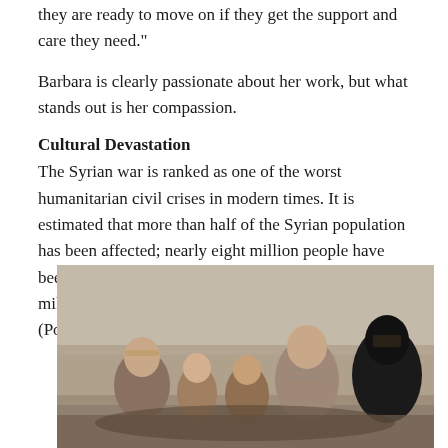they are ready to move on if they get the support and care they need."
Barbara is clearly passionate about her work, but what stands out is her compassion.
Cultural Devastation
The Syrian war is ranked as one of the worst humanitarian civil crises in modern times. It is estimated that more than half of the Syrian population has been affected; nearly eight million people have been internally displaced, while approximately 4.5 million have sought refuge in neighbouring countries (Pottie et al., 2015).
[Figure (photo): A group of Syrian refugees, including adults and children, sitting together against a plain wall. A woman in a black hijab is visible on the right side.]